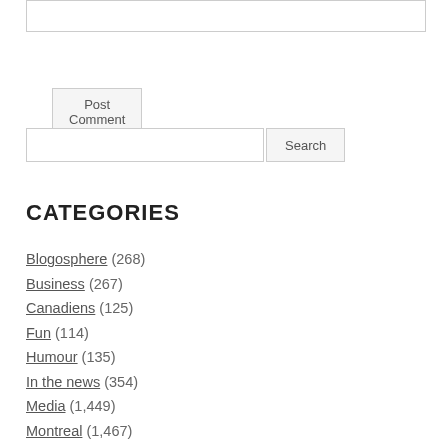[text input box]
Post Comment
[search input] Search
CATEGORIES
Blogosphere (268)
Business (267)
Canadiens (125)
Fun (114)
Humour (135)
In the news (354)
Media (1,449)
Montreal (1,467)